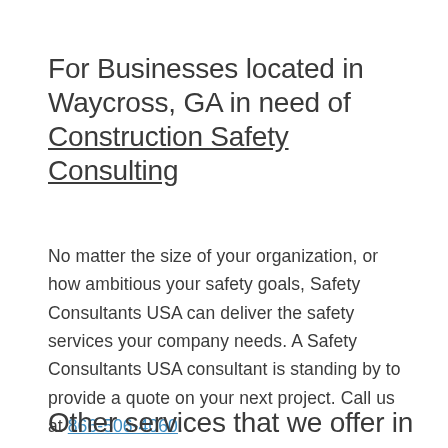For Businesses located in Waycross, GA in need of Construction Safety Consulting
No matter the size of your organization, or how ambitious your safety goals, Safety Consultants USA can deliver the safety services your company needs. A Safety Consultants USA consultant is standing by to provide a quote on your next project. Call us at 866-506-4060.
Other services that we offer in